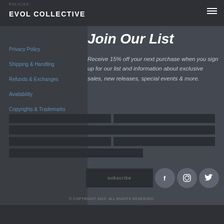EVOL COLLECTIVE
POLICIES:
Privacy Policy
Shipping & Handling
Refunds & Exchanges
Availability
Copyrights & Trademarks
Join Our List
Receive 15% off your next purchase when you sign up for our list and information about exclusive sales, new releases, special events & more.
[Figure (other): Subscribe button with Facebook, Instagram, and Twitter social media icons]
© COPYRIGHT 2015. ALL RIGHTS RESERVED.